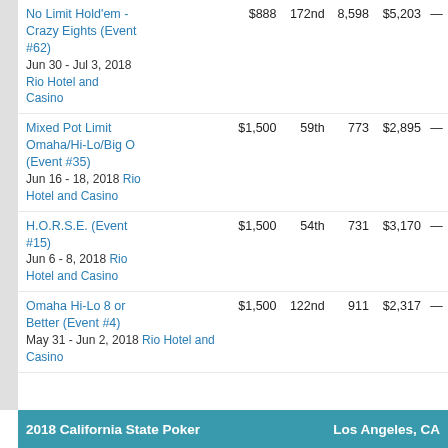| Event | Buy-in | Place | Entries | Winnings |  |
| --- | --- | --- | --- | --- | --- |
| No Limit Hold'em - Crazy Eights (Event #62)
Jun 30 - Jul 3, 2018
Rio Hotel and Casino | $888 | 172nd | 8,598 | $5,203 | — |
| Mixed Pot Limit Omaha/Hi-Lo/Big O (Event #35)
Jun 16 - 18, 2018 Rio Hotel and Casino | $1,500 | 59th | 773 | $2,895 | — |
| H.O.R.S.E. (Event #15)
Jun 6 - 8, 2018 Rio Hotel and Casino | $1,500 | 54th | 731 | $3,170 | — |
| Omaha Hi-Lo 8 or Better (Event #4)
May 31 - Jun 2, 2018 Rio Hotel and Casino | $1,500 | 122nd | 911 | $2,317 | — |
2018 California State Poker    Los Angeles, CA